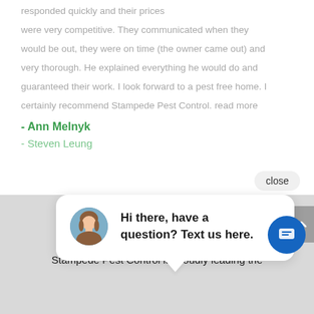responded quickly and their prices were very competitive. They communicated when they would be out, they were on time (the owner came out) and very thorough. He explained everything he would do and guaranteed their work. I look forward to a pest free home. I certainly recommend Stampede Pest Control. read more
- Ann Melnyk
- Steven Leung
close
Hi there, have a question? Text us here.
[Figure (logo): Stampede Pest & Termite logo with spider silhouette and green leaf]
Stampede Pest Control is proudly leading the